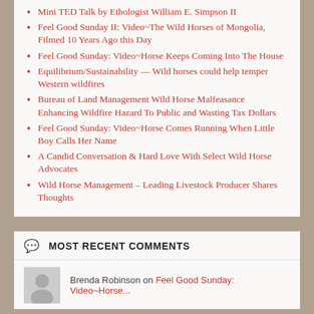Mini TED Talk by Ethologist William E. Simpson II
Feel Good Sunday II: Video~The Wild Horses of Mongolia, Filmed 10 Years Ago this Day
Feel Good Sunday: Video~Horse Keeps Coming Into The House
Equilibrium/Sustainability — Wild horses could help temper Western wildfires
Bureau of Land Management Wild Horse Malfeasance Enhancing Wildfire Hazard To Public and Wasting Tax Dollars
Feel Good Sunday: Video~Horse Comes Running When Little Boy Calls Her Name
A Candid Conversation & Hard Love With Select Wild Horse Advocates
Wild Horse Management – Leading Livestock Producer Shares Thoughts
MOST RECENT COMMENTS
Brenda Robinson on Feel Good Sunday: Video~Horse...